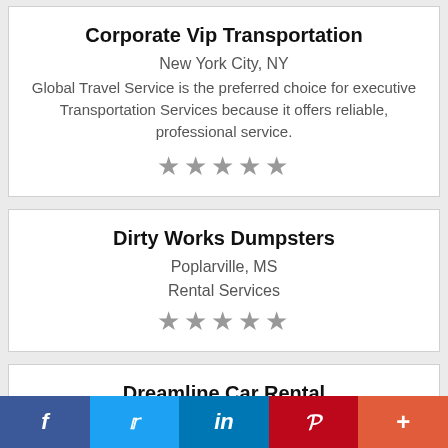Corporate Vip Transportation
New York City, NY
Global Travel Service is the preferred choice for executive Transportation Services because it offers reliable, professional service.
★★★★★
Dirty Works Dumpsters
Poplarville, MS
Rental Services
★★★★★
Dreamline Car Rental
Santa Monica, CA
Since day one we start to serve Los Angeles and surrounding areas with great customer…
f  Twitter  in  P  +